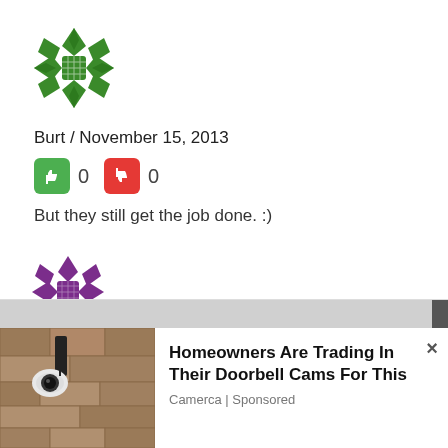[Figure (illustration): Green floral/geometric avatar icon made of interlocking diamond shapes]
Burt / November 15, 2013
[Figure (illustration): Thumbs up (green) and thumbs down (red) voting buttons, each followed by count 0]
But they still get the job done. :)
[Figure (illustration): Purple floral/geometric avatar icon made of interlocking diamond shapes]
Rationalist / November 12, 2013
[Figure (screenshot): Advertisement overlay: Homeowners Are Trading In Their Doorbell Cams For This - Camerca | Sponsored, with photo of outdoor security camera on stone wall]